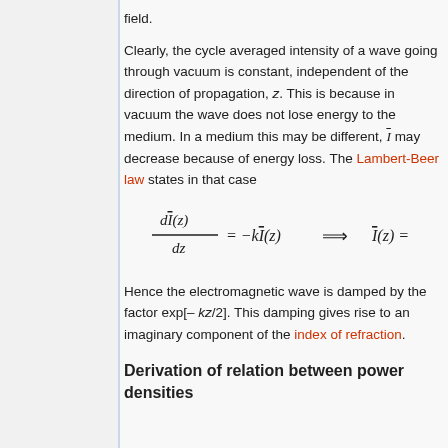field.
Clearly, the cycle averaged intensity of a wave going through vacuum is constant, independent of the direction of propagation, z. This is because in vacuum the wave does not lose energy to the medium. In a medium this may be different, Ī may decrease because of energy loss. The Lambert-Beer law states in that case
Hence the electromagnetic wave is damped by the factor exp[– kz/2]. This damping gives rise to an imaginary component of the index of refraction.
Derivation of relation between power densities